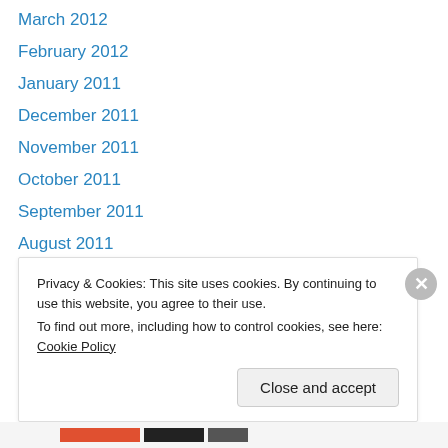March 2012
February 2012
January 2011
December 2011
November 2011
October 2011
September 2011
August 2011
July 2011
May 2011
April 2011
March 2011
February 2011
Privacy & Cookies: This site uses cookies. By continuing to use this website, you agree to their use. To find out more, including how to control cookies, see here: Cookie Policy
Close and accept